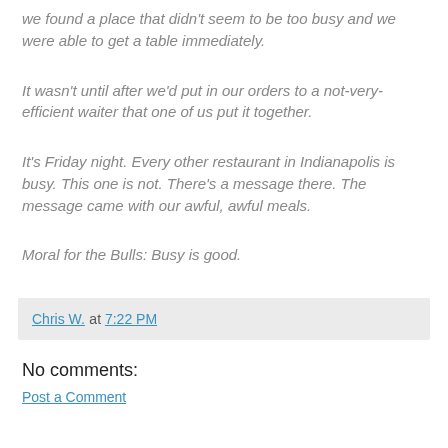we found a place that didn't seem to be too busy and we were able to get a table immediately.
It wasn't until after we'd put in our orders to a not-very-efficient waiter that one of us put it together.
It's Friday night. Every other restaurant in Indianapolis is busy. This one is not. There's a message there. The message came with our awful, awful meals.
Moral for the Bulls: Busy is good.
Chris W. at 7:22 PM
No comments:
Post a Comment